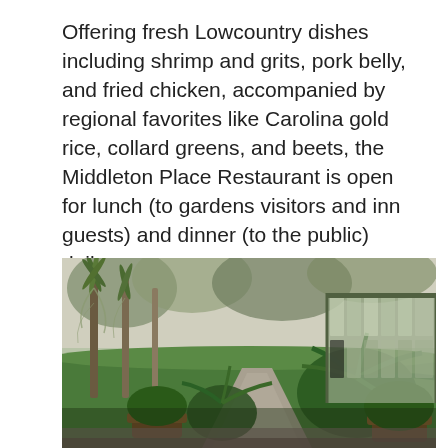Offering fresh Lowcountry dishes including shrimp and grits, pork belly, and fried chicken, accompanied by regional favorites like Carolina gold rice, collard greens, and beets, the Middleton Place Restaurant is open for lunch (to gardens visitors and inn guests) and dinner (to the public) daily.
[Figure (photo): Outdoor garden path view with tall palm trees draped in Spanish moss on the left, lush green plants and potted plants in the foreground, green lawn in the middle, and a large glass-windowed building on the right side.]